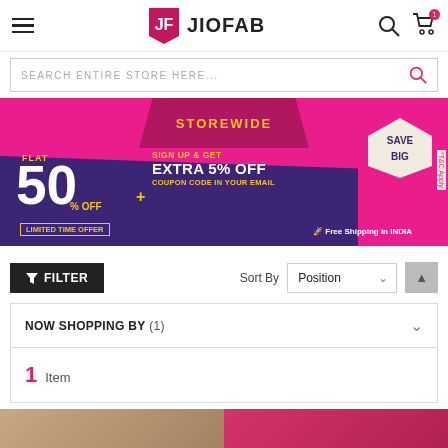[Figure (logo): JioFab logo with shield icon and wordmark]
Search Entire Store Here...
[Figure (infographic): Storewide sale banner: Flat 50% OFF + Sign Up & Get Extra 5% Off coupon code in your email. Limited Time Offer. Free Shipping in INDIA. Save Big. *T&C Apply.]
FILTER
Sort By  Position
NOW SHOPPING BY (1)
1 Item